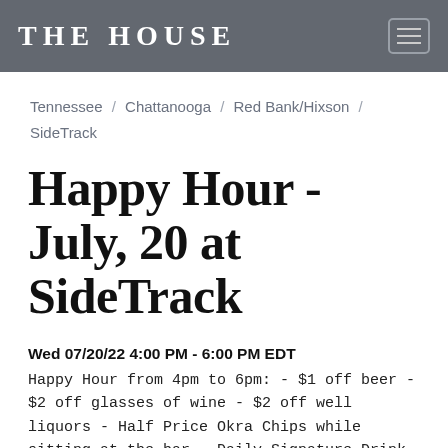THE HOUSE
Tennessee / Chattanooga / Red Bank/Hixson / SideTrack
Happy Hour - July, 20 at SideTrack
Wed 07/20/22 4:00 PM - 6:00 PM EDT
Happy Hour from 4pm to 6pm: - $1 off beer - $2 off glasses of wine - $2 off well liquors - Half Price Okra Chips while sitting at the bar - Daily Signature Drink